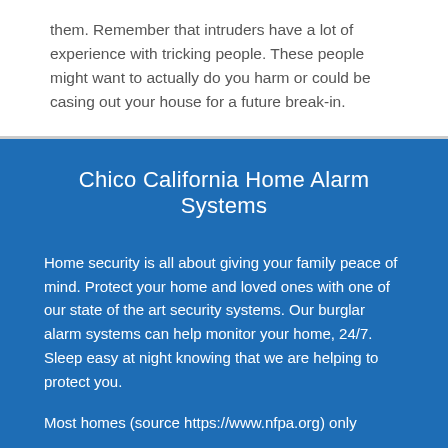them. Remember that intruders have a lot of experience with tricking people. These people might want to actually do you harm or could be casing out your house for a future break-in.
Chico California Home Alarm Systems
Home security is all about giving your family peace of mind. Protect your home and loved ones with one of our state of the art security systems. Our burglar alarm systems can help monitor your home, 24/7. Sleep easy at night knowing that we are helping to protect you.
Most homes (source https://www.nfpa.org) only